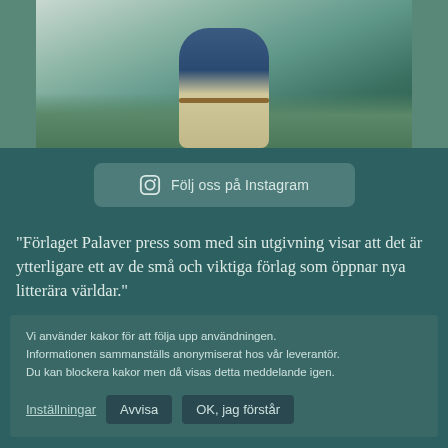[Figure (photo): A person wearing a blue jacket and light-colored trousers standing on green grass, photographed from the torso down.]
Följ oss på Instagram
"Förlaget Palaver press som med sin utgivning visar att det är ytterligare ett av de små och viktiga förlag som öppnar nya litterära världar."
Vi använder kakor för att följa upp användningen. Informationen sammanställs anonymiserat hos vår leverantör. Du kan blockera kakor men då visas detta meddelande igen.
Inställningar   Avvisa   OK, jag förstår